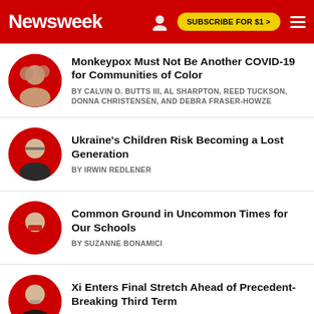Newsweek | SUBSCRIBE FOR $1 >
Monkeypox Must Not Be Another COVID-19 for Communities of Color
BY CALVIN O. BUTTS III, AL SHARPTON, REED TUCKSON, DONNA CHRISTENSEN, AND DEBRA FRASER-HOWZE
Ukraine's Children Risk Becoming a Lost Generation
BY IRWIN REDLENER
Common Ground in Uncommon Times for Our Schools
BY SUZANNE BONAMICI
Xi Enters Final Stretch Ahead of Precedent-Breaking Third Term
BY MICHAEL CUNNINGHAM
The Death of the Bush and Cheney Political Dynasties